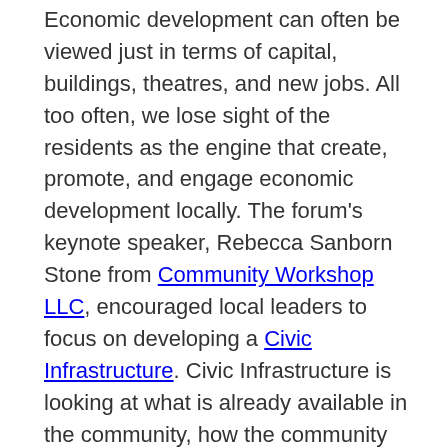Economic development can often be viewed just in terms of capital, buildings, theatres, and new jobs. All too often, we lose sight of the residents as the engine that create, promote, and engage economic development locally. The forum's keynote speaker, Rebecca Sanborn Stone from Community Workshop LLC, encouraged local leaders to focus on developing a Civic Infrastructure. Civic Infrastructure is looking at what is already available in the community, how the community connects, and who you are as a community. Check out her presentation.
Leverage municipal resources to support and grow local businesses